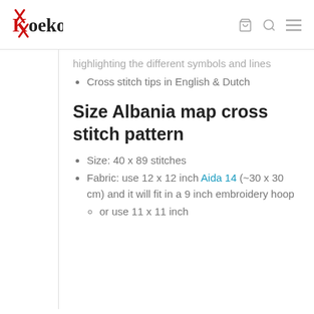Koekoek [logo with cart, search, menu icons]
highlighting the different symbols and lines
Cross stitch tips in English & Dutch
Size Albania map cross stitch pattern
Size: 40 x 89 stitches
Fabric: use 12 x 12 inch Aida 14 (~30 x 30 cm) and it will fit in a 9 inch embroidery hoop
or use 11 x 11 inch